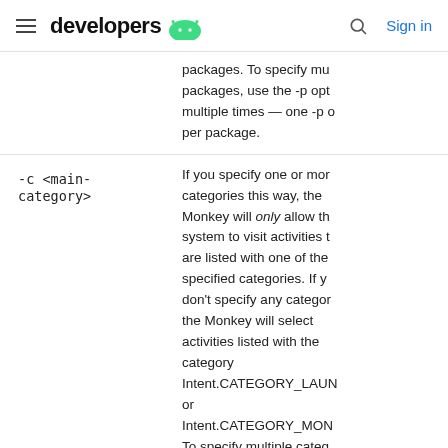developers
packages. To specify multiple packages, use the -p option multiple times — one -p option per package.
-c <main-category>
If you specify one or more categories this way, the Monkey will only allow the system to visit activities that are listed with one of the specified categories. If you don't specify any categories, the Monkey will select activities listed with the category Intent.CATEGORY_LAUNCHER or Intent.CATEGORY_MONKEY. To specify multiple categories, use the -c option multiple times.